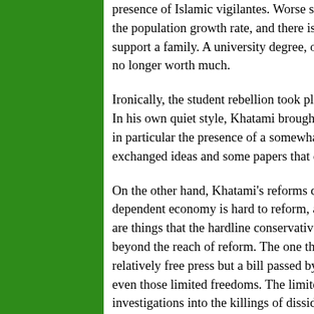presence of Islamic vigilantes. Worse still, the economy is going downhill, the population growth rate, and there is little or no prospect for youth to support a family. A university degree, once a sign of status and prestige, is no longer worth much.
Ironically, the student rebellion took place under more, not less, freedom. In his own quiet style, Khatami brought about change through relaxation, in particular the presence of a somewhat free social milieu where students exchanged ideas and some papers that openly criticized the government.
On the other hand, Khatami's reforms did not yield much more. The oil-dependent economy is hard to reform, and social issues related to women are things that the hardline conservatives are very protective, therefore beyond the reach of reform. The one thing youth have enjoyed is a relatively free press but a bill passed by the Majlis in early July took away even those limited freedoms. The limited range of reforms, including investigations into the killings of dissidents, and a culture of dissent had already provided the necessary spark for the uprising.
The rebellion has, at its core, a real...